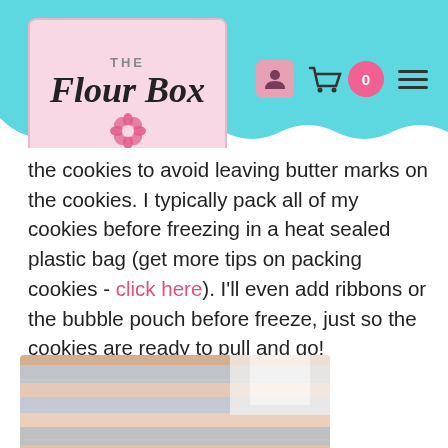The Flour Box
the cookies to avoid leaving butter marks on the cookies. I typically pack all of my cookies before freezing in a heat sealed plastic bag (get more tips on packing cookies - click here). I'll even add ribbons or the bubble pouch before freeze, just so the cookies are ready to pull and go!
[Figure (photo): Photo of stacked flat bags of packed cookies viewed from the side, showing multiple layers of clear heat-sealed plastic bags with colorful cookie packaging inside.]